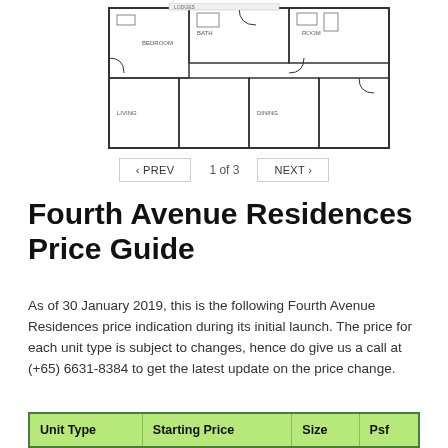[Figure (schematic): Floor plan drawing of a residential apartment unit showing room layouts, doors, and architectural details]
< PREV   1 of 3   NEXT >
Fourth Avenue Residences Price Guide
As of 30 January 2019, this is the following Fourth Avenue Residences price indication during its initial launch. The price for each unit type is subject to changes, hence do give us a call at (+65) 6631-8384 to get the latest update on the price change.
| Unit Type | Starting Price | Size | Psf |
| --- | --- | --- | --- |